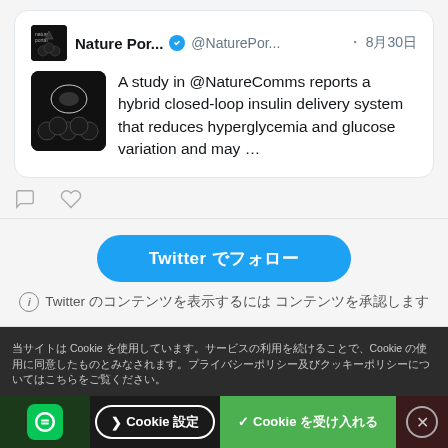[Figure (screenshot): A tweet card from Nature Por... (@NaturePor...) verified account, dated 8月30日, showing a thumbnail image (dark medical/science image) and tweet text: 'A study in @NatureComms reports a hybrid closed-loop insulin delivery system that reduces hyperglycemia and glucose variation and may ...' with comment and like icons below.]
Twitter でフォロー
Twitter のコンテンツを表示するには コンテンツを承認します
当サイトは Cookie を使用しています。サービスの利用を続けることで、Cookie の使用に同意したものとみなされます。プライバシーポリシー及びクッキーポリシーについてはこちらをご覧ください。
❯ Cookie 設定
✓ Cookie を受け入れる